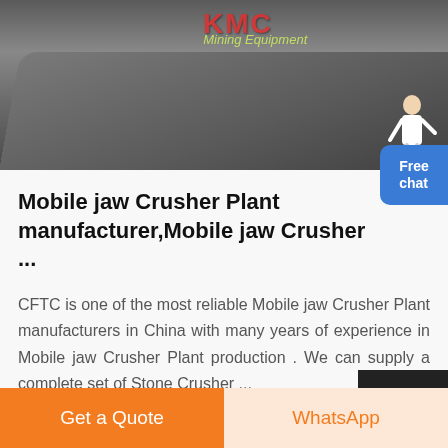[Figure (photo): Photo of a mobile jaw crusher plant machine, large dark metallic hopper/bowl shape in foreground, outdoor setting with signage in background, red Chinese text visible at top]
Mobile jaw Crusher Plant manufacturer,Mobile jaw Crusher ...
CFTC is one of the most reliable Mobile jaw Crusher Plant manufacturers in China with many years of experience in Mobile jaw Crusher Plant production . We can supply a complete set of Stone Crusher ...